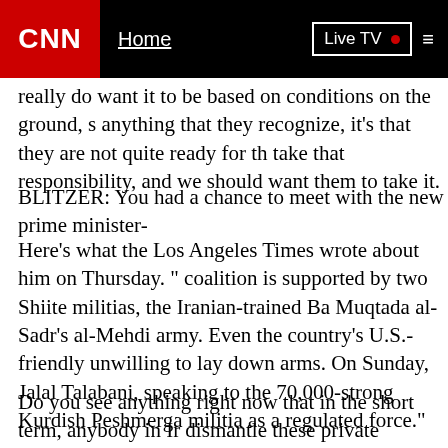CNN | Home | Live TV
really do want it to be based on conditions on the ground, s anything that they recognize, it's that they are not quite ready for th take that responsibility, and we should want them to take it.
BLITZER: You had a chance to meet with the new prime minister-
Here's what the Los Angeles Times wrote about him on Thursday. " coalition is supported by two Shiite militias, the Iranian-trained Ba Muqtada al-Sadr's al-Mehdi army. Even the country's U.S.-friendly unwilling to lay down arms. On Sunday, Jalal Talabani, speaking to the 70,000-strong Kurdish Peshmerga militia as a regulated force."
Do you see anything right now that in the short term, anybody in Ir dismantle these private militias?